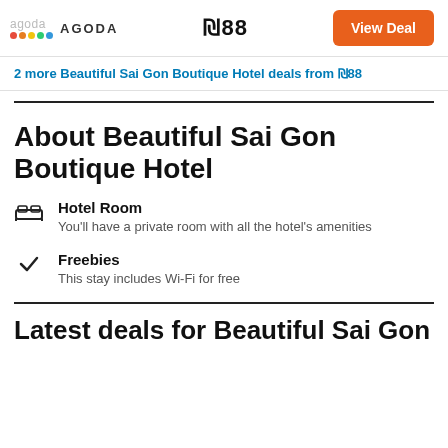agoda AGODA  ₪88  View Deal
2 more Beautiful Sai Gon Boutique Hotel deals from ₪88
About Beautiful Sai Gon Boutique Hotel
Hotel Room — You'll have a private room with all the hotel's amenities
Freebies — This stay includes Wi-Fi for free
Latest deals for Beautiful Sai Gon